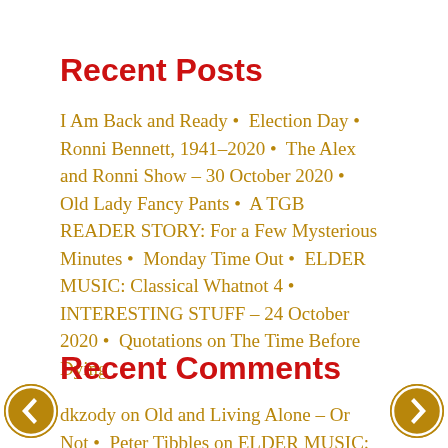Recent Posts
I Am Back and Ready • Election Day • Ronni Bennett, 1941–2020 • The Alex and Ronni Show – 30 October 2020 • Old Lady Fancy Pants • A TGB READER STORY: For a Few Mysterious Minutes • Monday Time Out • ELDER MUSIC: Classical Whatnot 4 • INTERESTING STUFF – 24 October 2020 • Quotations on The Time Before Dying
Recent Comments
dkzody on Old and Living Alone – Or Not • Peter Tibbles on ELDER MUSIC: